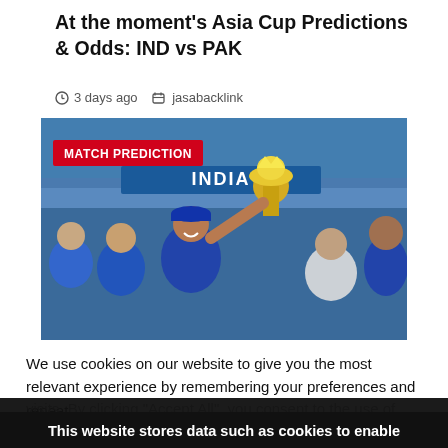At the moment's Asia Cup Predictions & Odds: IND vs PAK
3 days ago   jasabacklink
[Figure (photo): Cricket players in blue jerseys celebrating with a gold trophy, with a MATCH PREDICTION red badge overlay]
We use cookies on our website to give you the most relevant experience by remembering your preferences and repeat visits. By clicking "Accept All", you consent to the use of ALL provide a controlled consent.
This website stores data such as cookies to enable necessary site functionality, including analytics, targeting, and personalization. By remaining on this website you indicate your consent Cookie Policy  X